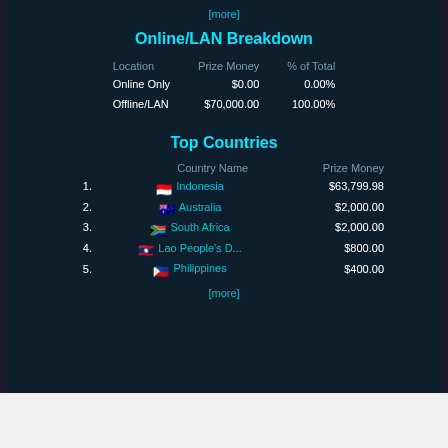[more]
Online/LAN Breakdown
| Location | Prize Money | % of Total |
| --- | --- | --- |
| Online Only | $0.00 | 0.00% |
| Offline/LAN | $70,000.00 | 100.00% |
Top Countries
|  | Country Name | Prize Money |
| --- | --- | --- |
| 1. | Indonesia | $63,799.98 |
| 2. | Australia | $2,000.00 |
| 3. | South Africa | $2,000.00 |
| 4. | Lao People's D... | $800.00 |
| 5. | Philippines | $400.00 |
[more]